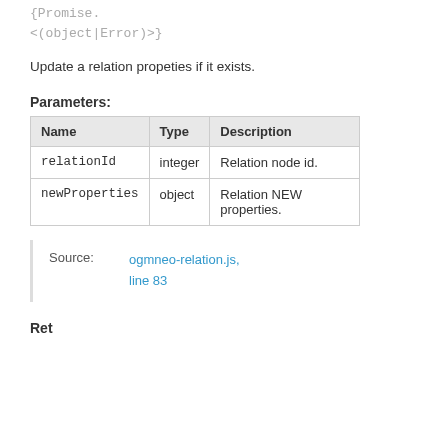{Promise.<(object|Error)>}
Update a relation propeties if it exists.
Parameters:
| Name | Type | Description |
| --- | --- | --- |
| relationId | integer | Relation node id. |
| newProperties | object | Relation NEW properties. |
Source: ogmneo-relation.js, line 83
Returns